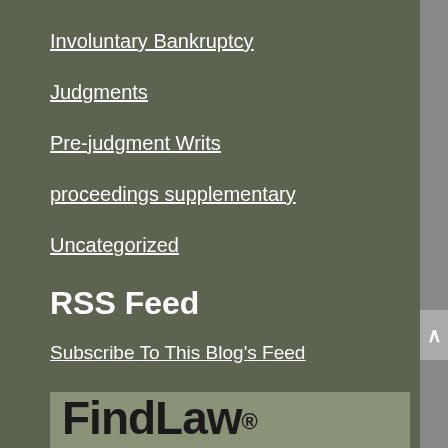Involuntary Bankruptcy
Judgments
Pre-judgment Writs
proceedings supplementary
Uncategorized
RSS Feed
Subscribe To This Blog's Feed
[Figure (logo): FindLaw Network logo on a muted green-grey background]